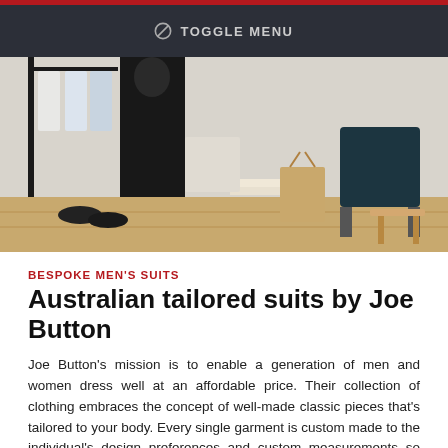TOGGLE MENU
[Figure (photo): Interior of a clothing boutique or tailoring shop with garments hanging on a rack and a chair with a paper bag in the background]
BESPOKE MEN'S SUITS
Australian tailored suits by Joe Button
Joe Button's mission is to enable a generation of men and women dress well at an affordable price. Their collection of clothing embraces the concept of well-made classic pieces that's tailored to your body. Every single garment is custom made to the individual's design preferences and custom measurements so that no two pieces are ever the same.
10 MARCH, 2017
[Figure (photo): Bottom portion of a fashion article showing clothing items on a light green background]